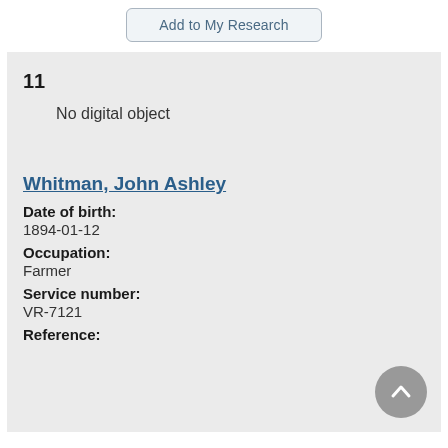Add to My Research
11
No digital object
Whitman, John Ashley
Date of birth:
1894-01-12
Occupation:
Farmer
Service number:
VR-7121
Reference: